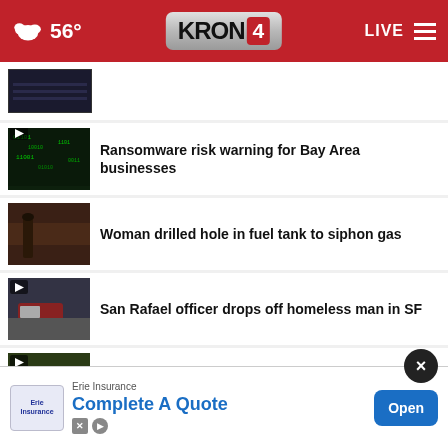56° KRON 4 LIVE
[Figure (screenshot): Thumbnail image of building/fence (partial, cropped at top)]
[Figure (screenshot): Thumbnail of green digital/matrix screen with play button]
Ransomware risk warning for Bay Area businesses
[Figure (screenshot): Thumbnail of brown surface/drilling related image]
Woman drilled hole in fuel tank to siphon gas
[Figure (screenshot): Thumbnail of police car/officer scene with play button]
San Rafael officer drops off homeless man in SF
[Figure (screenshot): Thumbnail of green grass with wild pigs, play button, red bar at bottom]
Wild pigs damage property in Concord
[Figure (screenshot): Thumbnail of pavement/ground with play button]
Hate crimes up 36% in California:
[Figure (screenshot): Erie Insurance ad banner: Complete A Quote, Open button]